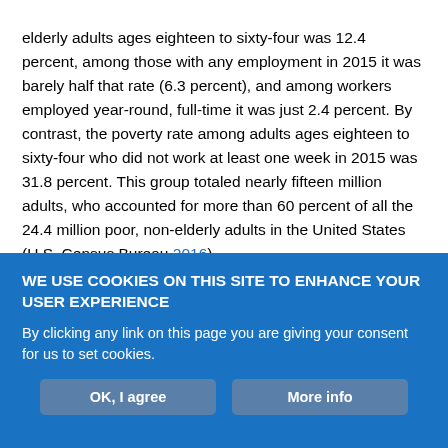elderly adults ages eighteen to sixty-four was 12.4 percent, among those with any employment in 2015 it was barely half that rate (6.3 percent), and among workers employed year-round, full-time it was just 2.4 percent. By contrast, the poverty rate among adults ages eighteen to sixty-four who did not work at least one week in 2015 was 31.8 percent. This group totaled nearly fifteen million adults, who accounted for more than 60 percent of all the 24.4 million poor, non-elderly adults in the United States (U.S. Census Bureau 2016).
Moving beyond just these strong associations between employment and poverty, evidence is ample that providing work opportunities and income, particularly when jobs are scarce or people face serious
[Figure (other): Cookie consent banner overlay with blue background. Title: 'WE USE COOKIES ON THIS SITE TO ENHANCE YOUR USER EXPERIENCE'. Body text: 'By clicking any link on this page you are giving your consent for us to set cookies.' Two buttons: 'OK, I agree' and 'More info'.]